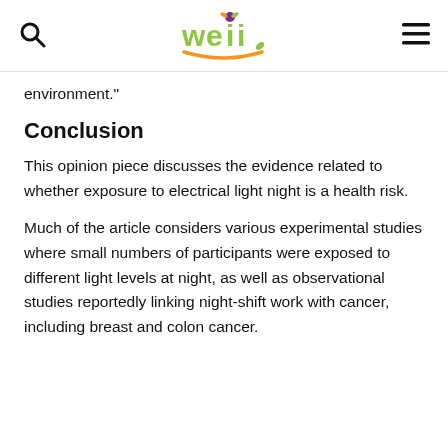weii [logo]
environment."
Conclusion
This opinion piece discusses the evidence related to whether exposure to electrical light night is a health risk.
Much of the article considers various experimental studies where small numbers of participants were exposed to different light levels at night, as well as observational studies reportedly linking night-shift work with cancer, including breast and colon cancer.